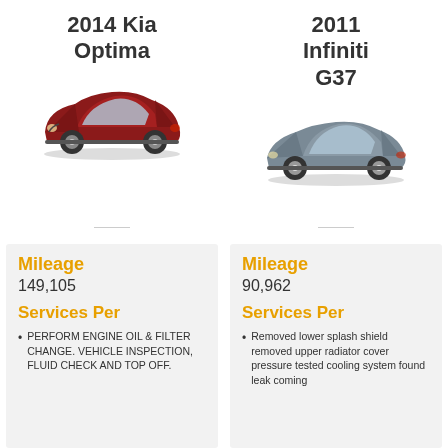2014 Kia Optima
[Figure (photo): Red 2014 Kia Optima sedan, side-front view]
2011 Infiniti G37
[Figure (photo): Gray 2011 Infiniti G37 coupe, side-front view]
Mileage
149,105
Services Per
PERFORM ENGINE OIL & FILTER CHANGE. VEHICLE INSPECTION, FLUID CHECK AND TOP OFF.
Mileage
90,962
Services Per
Removed lower splash shield removed upper radiator cover pressure tested cooling system found leak coming